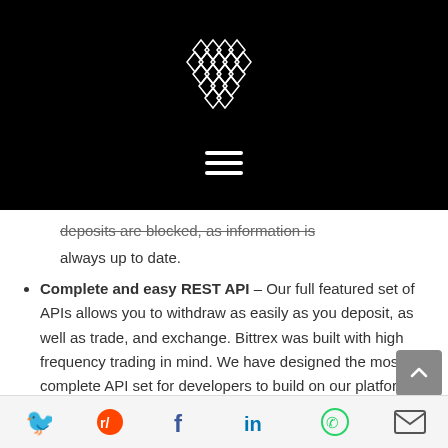[Figure (logo): Bittrex diamond/grid logo in white on black background, with hamburger menu icon below]
deposits are blocked, as information is always up to date.
Complete and easy REST API – Our full featured set of APIs allows you to withdraw as easily as you deposit, as well as trade, and exchange. Bittrex was built with high frequency trading in mind. We have designed the most complete API set for developers to build on our platform.
Social share icons: Twitter, Reddit, Facebook, LinkedIn, WhatsApp, Email